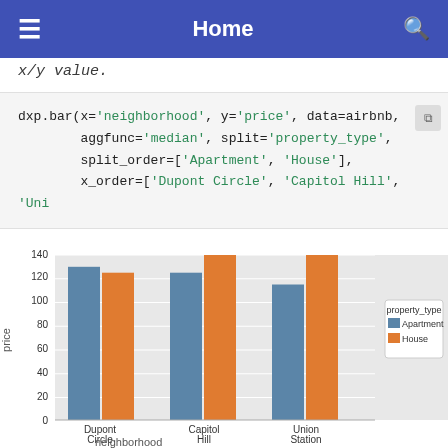Home
x/y value.
dxp.bar(x='neighborhood', y='price', data=airbnb,
        aggfunc='median', split='property_type',
        split_order=['Apartment', 'House'],
        x_order=['Dupont Circle', 'Capitol Hill', 'Uni
[Figure (grouped-bar-chart): ]